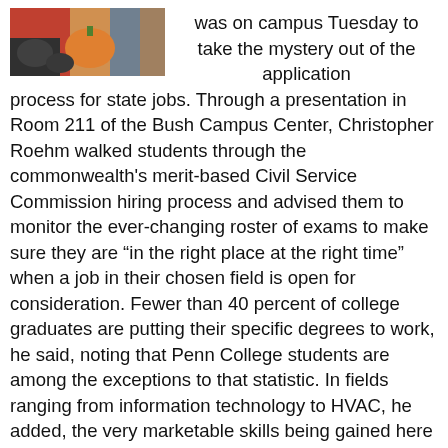[Figure (photo): Partial photo showing colorful objects, appearing to be cropped at the top of the page]
was on campus Tuesday to take the mystery out of the application process for state jobs. Through a presentation in Room 211 of the Bush Campus Center, Christopher Roehm walked students through the commonwealth's merit-based Civil Service Commission hiring process and advised them to monitor the ever-changing roster of exams to make sure they are “in the right place at the right time” when a job in their chosen field is open for consideration. Fewer than 40 percent of college graduates are putting their specific degrees to work, he said, noting that Penn College students are among the exceptions to that statistic. In fields ranging from information technology to HVAC, he added, the very marketable skills being gained here put graduates in good stead for the thousands of state vacancies expected to follow a flood of retirements in the near future. Roehm also offered students a primer in job-search vernacular, schooled them on the importance of self-promotion in resumes and job applications, and because knowing how